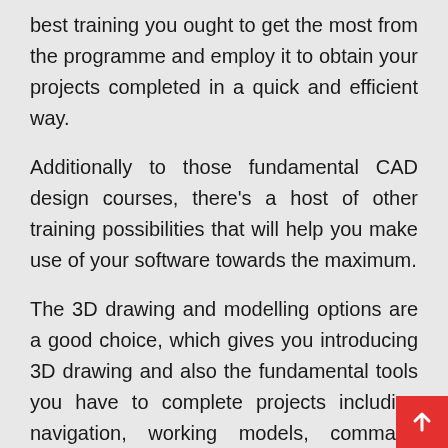best training you ought to get the most from the programme and employ it to obtain your projects completed in a quick and efficient way.
Additionally to those fundamental CAD design courses, there's a host of other training possibilities that will help you make use of your software towards the maximum.
The 3D drawing and modelling options are a good choice, which gives you introducing 3D drawing and also the fundamental tools you have to complete projects including navigation, working models, command changes, creating shells, animations, light sources and a whole lot.